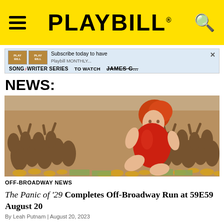PLAYBILL
[Figure (screenshot): Playbill advertisement banner showing Songwriter Series and content to watch]
NEWS:
[Figure (illustration): Vintage-style illustration of a red-haired woman in a red dress seated on gold coins and money, with a crowd of people celebrating in the background]
OFF-BROADWAY NEWS
The Panic of '29 Completes Off-Broadway Run at 59E59 August 20
By Leah Putnam | August 20, 2023